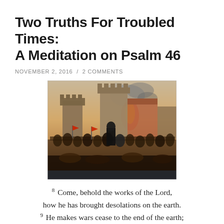Two Truths For Troubled Times: A Meditation on Psalm 46
NOVEMBER 2, 2016  /  2 COMMENTS
[Figure (photo): Historical painting depicting a medieval siege or battle scene with armies, castle walls on fire, smoke rising, and soldiers in combat.]
8 Come, behold the works of the Lord, how he has brought desolations on the earth. 9 He makes wars cease to the end of the earth;